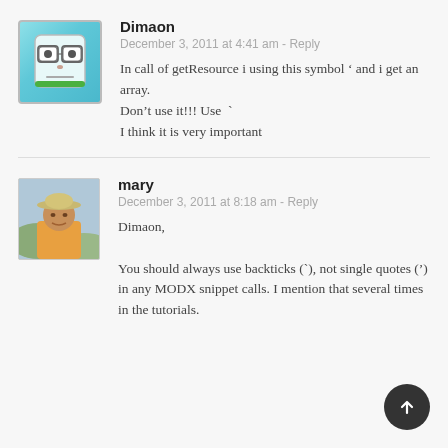[Figure (illustration): Avatar icon for user Dimaon: cartoon face with glasses on teal/blue background]
Dimaon
December 3, 2011 at 4:41 am - Reply
In call of getResource i using this symbol ‘ and i get an array.
Don’t use it!!! Use `
I think it is very important
[Figure (photo): Avatar photo of user mary: person wearing a hat outdoors]
mary
December 3, 2011 at 8:18 am - Reply
Dimaon,

You should always use backticks (`), not single quotes (’) in any MODX snippet calls. I mention that several times in the tutorials.